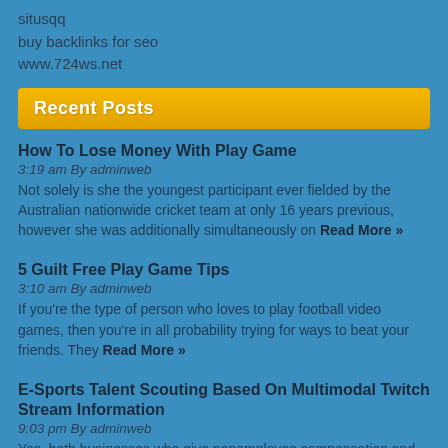situsqq
buy backlinks for seo
www.724ws.net
Recent Posts
How To Lose Money With Play Game
3:19 am By adminweb
Not solely is she the youngest participant ever fielded by the Australian nationwide cricket team at only 16 years previous, however she was additionally simultaneously on Read More »
5 Guilt Free Play Game Tips
3:10 am By adminweb
If you're the type of person who loves to play football video games, then you're in all probability trying for ways to beat your friends. They Read More »
E-Sports Talent Scouting Based On Multimodal Twitch Stream Information
9:03 pm By adminweb
Yes, both businesses who give nonemployee compensation and people who earn money by way of nonemployee compensation must report those